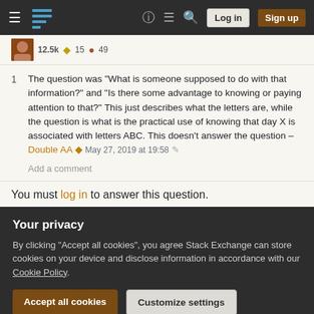Stack Exchange navigation bar with hamburger menu, logo, help, chat, search icons, Log in and Sign up buttons
12.5k ◆ 15 ● 49
1  The question was "What is someone supposed to do with that information?" and "Is there some advantage to knowing or paying attention to that?" This just describes what the letters are, while the question is what is the practical use of knowing that day X is associated with letters ABC. This doesn't answer the question – Double AA ♦ May 27, 2019 at 19:58 ✎
Add a comment
You must log in to answer this question.
Your privacy
By clicking "Accept all cookies", you agree Stack Exchange can store cookies on your device and disclose information in accordance with our Cookie Policy.
Accept all cookies
Customize settings
Google Analytics 4 (GA4) upgrade